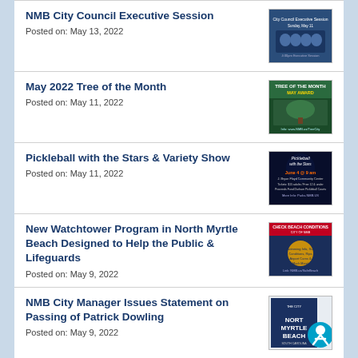NMB City Council Executive Session
Posted on: May 13, 2022
May 2022 Tree of the Month
Posted on: May 11, 2022
Pickleball with the Stars & Variety Show
Posted on: May 11, 2022
New Watchtower Program in North Myrtle Beach Designed to Help the Public & Lifeguards
Posted on: May 9, 2022
NMB City Manager Issues Statement on Passing of Patrick Dowling
Posted on: May 9, 2022